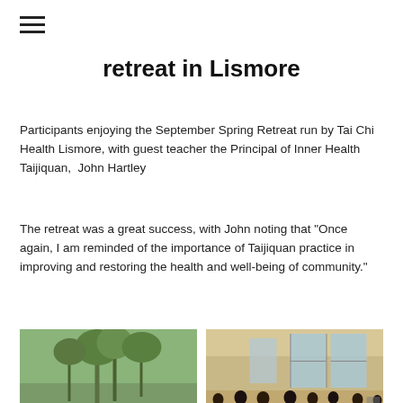≡
retreat in Lismore
Participants enjoying the September Spring Retreat run by Tai Chi Health Lismore, with guest teacher the Principal of Inner Health Taijiquan,  John Hartley
The retreat was a great success, with John noting that "Once again, I am reminded of the importance of Taijiquan practice in improving and restoring the health and well-being of community."
[Figure (photo): Group photo outdoors in a bushland setting, large group of participants standing together]
[Figure (photo): Indoor photo of people practicing Tai Chi in a hall with wooden floors and large windows]